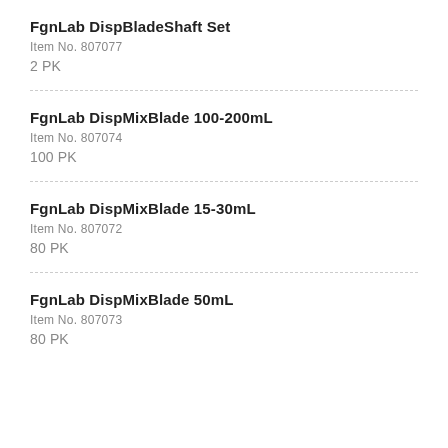FgnLab DispBladeShaft Set
Item No. 807077
2 PK
FgnLab DispMixBlade 100-200mL
Item No. 807074
100 PK
FgnLab DispMixBlade 15-30mL
Item No. 807072
80 PK
FgnLab DispMixBlade 50mL
Item No. 807073
80 PK